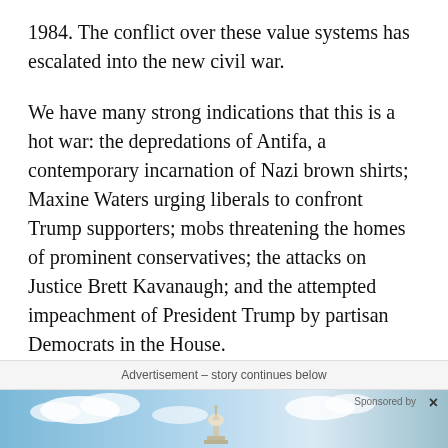1984. The conflict over these value systems has escalated into the new civil war.
We have many strong indications that this is a hot war: the depredations of Antifa, a contemporary incarnation of Nazi brown shirts; Maxine Waters urging liberals to confront Trump supporters; mobs threatening the homes of prominent conservatives; the attacks on Justice Brett Kavanaugh; and the attempted impeachment of President Trump by partisan Democrats in the House.
Advertisement – story continues below
[Figure (photo): Advertisement image showing a sky with clouds and a monument/dome structure, with 'Sponsored by' label and close button (×)]